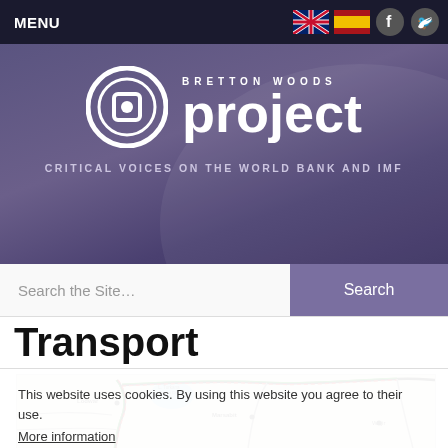MENU
[Figure (logo): Bretton Woods Project logo with circular icon and text 'BRETTON WOODS project — CRITICAL VOICES ON THE WORLD BANK AND IMF']
Search the Site…
Search
Transport
[Figure (map): Map of East Africa showing transport routes through Kenya, with cities including Lodwar, Marsabit, Wajir, Eldoret, Isiolo, Embu, Garissa marked, and colored road/rail lines in red, green, and black.]
This website uses cookies. By using this website you agree to their use.
More information
Close and accept